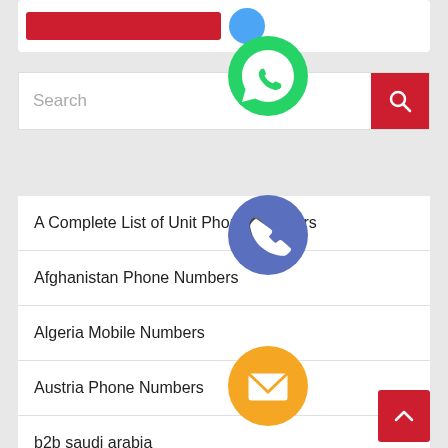[Figure (screenshot): Top navigation bar with red banner and blue circle icon]
[Figure (screenshot): Search bar with red search button]
NEWS CATEGORIES
A Complete List of Unit Phone Numbers
Afghanistan Phone Numbers
Algeria Mobile Numbers
Austria Phone Numbers
b2b saudi arabia
[Figure (infographic): Social media icons column overlay: WhatsApp (green), Phone (blue/purple), Email (orange), LINE (green), Viber (purple), Close (green X)]